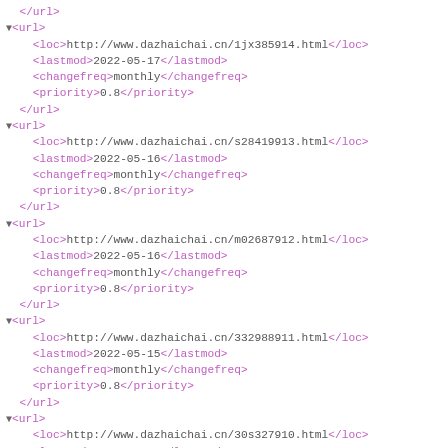</url>
▼<url>
    <loc>http://www.dazhaichai.cn/1jx385914.html</loc>
    <lastmod>2022-05-17</lastmod>
    <changefreq>monthly</changefreq>
    <priority>0.8</priority>
  </url>
▼<url>
    <loc>http://www.dazhaichai.cn/s28419913.html</loc>
    <lastmod>2022-05-16</lastmod>
    <changefreq>monthly</changefreq>
    <priority>0.8</priority>
  </url>
▼<url>
    <loc>http://www.dazhaichai.cn/m02687912.html</loc>
    <lastmod>2022-05-16</lastmod>
    <changefreq>monthly</changefreq>
    <priority>0.8</priority>
  </url>
▼<url>
    <loc>http://www.dazhaichai.cn/332988911.html</loc>
    <lastmod>2022-05-15</lastmod>
    <changefreq>monthly</changefreq>
    <priority>0.8</priority>
  </url>
▼<url>
    <loc>http://www.dazhaichai.cn/30s327910.html</loc>
    <lastmod>2022-05-15</lastmod>
    <changefreq>monthly</changefreq>
    <priority>0.8</priority>
  </url>